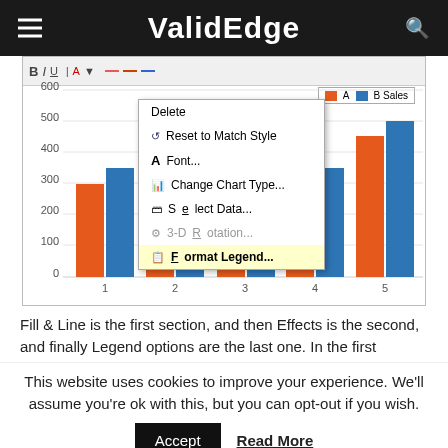ValidEdge
[Figure (screenshot): A grouped bar chart in Excel showing two series (A in orange and B Sales in blue) for categories 1-5, with a right-click context menu open showing options: Delete, Reset to Match Style, Font..., Change Chart Type..., Select Data..., 3-D Rotation..., Format Legend... (highlighted in yellow). The chart y-axis goes from 0 to 600 in increments of 100. Orange bars: 300, 125, 125, 400, 450. Blue bars: 350, 125, 200, 350, 500.]
Fill & Line is the first section, and then Effects is the second, and finally Legend options are the last one. In the first
This website uses cookies to improve your experience. We'll assume you're ok with this, but you can opt-out if you wish.
Accept    Read More